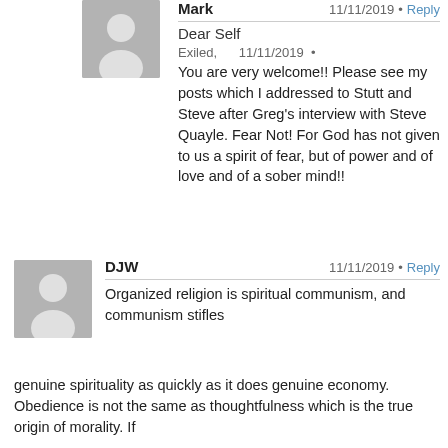[Figure (illustration): Gray placeholder avatar icon for user Mark]
Mark · Reply
Dear Self
Exiled, 11/11/2019 •
You are very welcome!! Please see my posts which I addressed to Stutt and Steve after Greg's interview with Steve Quayle. Fear Not! For God has not given to us a spirit of fear, but of power and of love and of a sober mind!!
[Figure (illustration): Gray placeholder avatar icon for user DJW]
DJW 11/11/2019 • Reply
Organized religion is spiritual communism, and communism stifles genuine spirituality as quickly as it does genuine economy. Obedience is not the same as thoughtfulness which is the true origin of morality. If